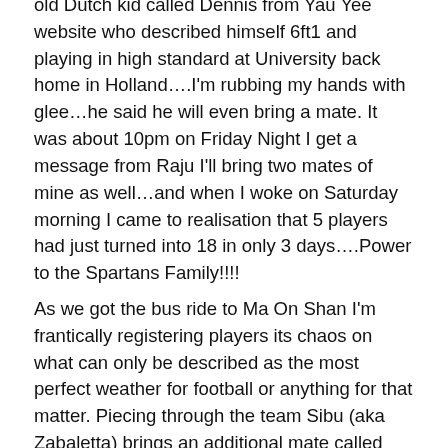old Dutch kid called Dennis from Yau Yee website who described himself 6ft1 and playing in high standard at University back home in Holland....I'm rubbing my hands with glee...he said he will even bring a mate. It was about 10pm on Friday Night I get a message from Raju I'll bring two mates of mine as well...and when I woke on Saturday morning I came to realisation that 5 players had just turned into 18 in only 3 days....Power to the Spartans Family!!!!
As we got the bus ride to Ma On Shan I'm frantically registering players its chaos on what can only be described as the most perfect weather for football or anything for that matter. Piecing through the team Sibu (aka Zabaletta) brings an additional mate called Hector